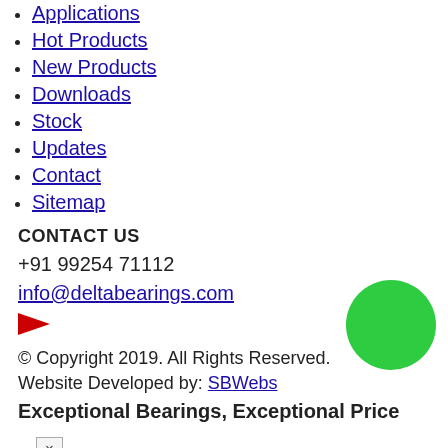Applications
Hot Products
New Products
Downloads
Stock
Updates
Contact
Sitemap
CONTACT US
+91 99254 71112
info@deltabearings.com
[Figure (illustration): Small red arrow/play button icon]
© Copyright 2019. All Rights Reserved.
Website Developed by: SBWebs
Exceptional Bearings, Exceptional Price
[Figure (illustration): Green filled circle]
×